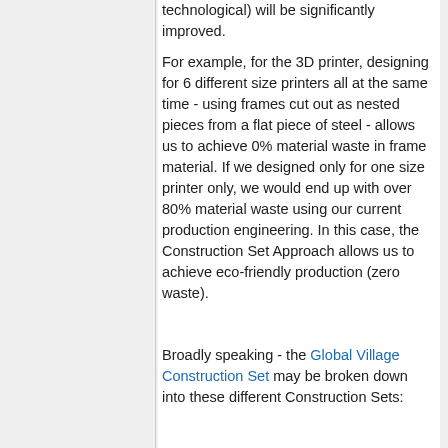technological) will be significantly improved.
For example, for the 3D printer, designing for 6 different size printers all at the same time - using frames cut out as nested pieces from a flat piece of steel - allows us to achieve 0% material waste in frame material. If we designed only for one size printer only, we would end up with over 80% material waste using our current production engineering. In this case, the Construction Set Approach allows us to achieve eco-friendly production (zero waste).
Broadly speaking - the Global Village Construction Set may be broken down into these different Construction Sets: